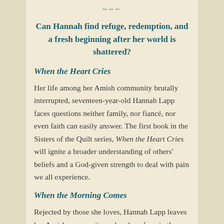~~~
Can Hannah find refuge, redemption, and a fresh beginning after her world is shattered?
When the Heart Cries
Her life among her Amish community brutally interrupted, seventeen-year-old Hannah Lapp faces questions neither family, nor fiancé, nor even faith can easily answer. The first book in the Sisters of the Quilt series, When the Heart Cries will ignite a broader understanding of others' beliefs and a God-given strength to deal with pain we all experience.
When the Morning Comes
Rejected by those she loves, Hannah Lapp leaves her Amish community and seeks refuge in the world outside, leaving her family and friends to wrestle with the painful truths that emerge in the wake of her disappearance. As she struggles to find her